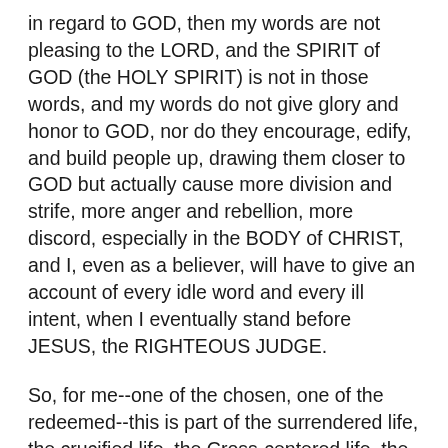in regard to GOD, then my words are not pleasing to the LORD, and the SPIRIT of GOD (the HOLY SPIRIT) is not in those words, and my words do not give glory and honor to GOD, nor do they encourage, edify, and build people up, drawing them closer to GOD but actually cause more division and strife, more anger and rebellion, more discord, especially in the BODY of CHRIST, and I, even as a believer, will have to give an account of every idle word and every ill intent, when I eventually stand before JESUS, the RIGHTEOUS JUDGE.
So, for me--one of the chosen, one of the redeemed--this is part of the surrendered life, the crucified life, the Cross-centered life, the CHRIST-centric life, which is explained in Romans 14:8, and, basically, says, we are not our own; we are GOD's--paid for in full by HIS SON, JESUS, and HE LIVES in us and HE WORKS through us...